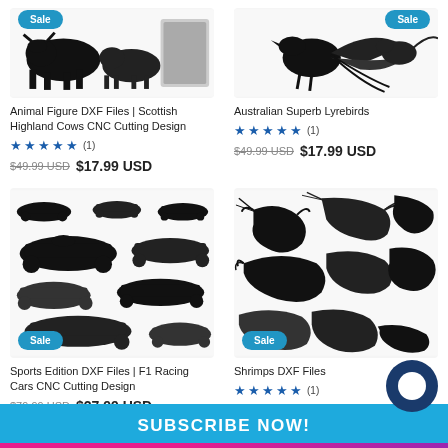[Figure (illustration): Animal Figure DXF Files showing Scottish Highland Cows illustrations, black silhouettes, with Sale badge at top]
Animal Figure DXF Files | Scottish Highland Cows CNC Cutting Design
★★★★★ (1)
$49.99 USD  $17.99 USD
[Figure (illustration): Australian Superb Lyrebirds black silhouette illustration with Sale badge]
Australian Superb Lyrebirds
★★★★★ (1)
$49.99 USD  $17.99 USD
[Figure (illustration): Sports Edition DXF Files showing multiple F1 Racing Cars in black silhouette, Sale badge]
Sports Edition DXF Files | F1 Racing Cars CNC Cutting Design
$79.99 USD  $27.99 USD
[Figure (illustration): Shrimps DXF Files showing multiple shrimp black illustrations, Sale badge]
Shrimps DXF Files
★★★★★ (1)
$29.99 USD  $10.99
SUBSCRIBE NOW!